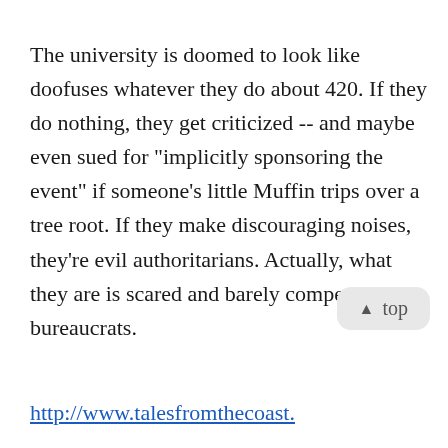The university is doomed to look like doofuses whatever they do about 420. If they do nothing, they get criticized -- and maybe even sued for "implicitly sponsoring the event" if someone's little Muffin trips over a tree root. If they make discouraging noises, they're evil authoritarians. Actually, what they are is scared and barely competent bureaucrats.
▲ top
http://www.talesfromthecoast.